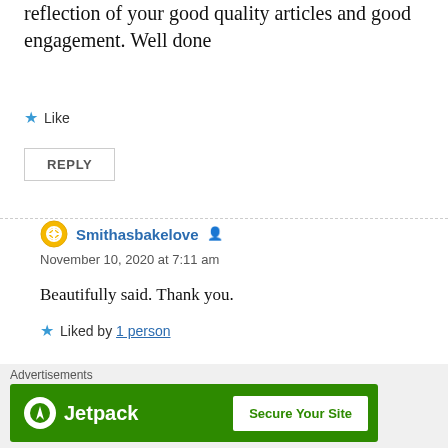reflection of your good quality articles and good engagement. Well done
Like
REPLY
Smithasbakelove
November 10, 2020 at 7:11 am
Beautifully said. Thank you.
Liked by 1 person
REPLY
Advertisements
[Figure (logo): Jetpack advertisement banner with logo and 'Secure Your Site' button on green background]